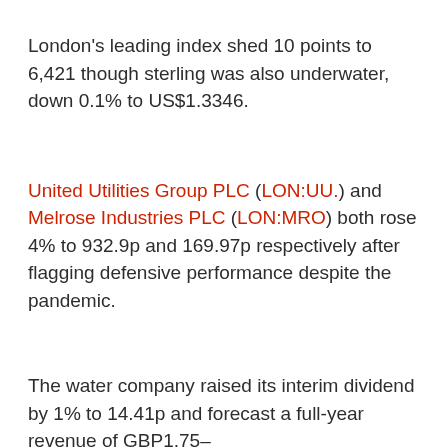London's leading index shed 10 points to 6,421 though sterling was also underwater, down 0.1% to US$1.3346.
United Utilities Group PLC (LON:UU.) and Melrose Industries PLC (LON:MRO) both rose 4% to 932.9p and 169.97p respectively after flagging defensive performance despite the pandemic.
The water company raised its interim dividend by 1% to 14.41p and forecast a full-year revenue of GBP1.75-